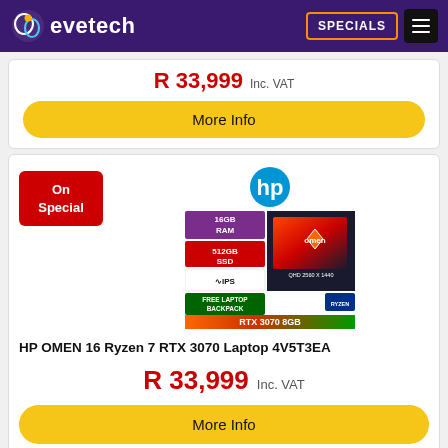evetech — SPECIALS
R 33,999 Inc. VAT
More Info
[Figure (screenshot): HP OMEN 16 laptop product image with specs: 16GB RAM, 512GB SSD, IPS, QHD 2560x1440, FREE Laptop Backpack, RTX 3070 8GB, with HP logo above]
HP OMEN 16 Ryzen 7 RTX 3070 Laptop 4V5T3EA
R 33,999 Inc. VAT
More Info